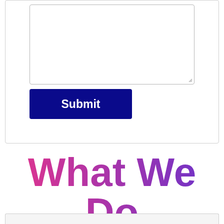[Figure (screenshot): A web form section showing a large textarea input box with a resize handle in the bottom-right corner, and below it a dark navy blue Submit button with white bold text.]
What We Do
[Figure (screenshot): Bottom edge of a light grey bordered container, partially visible at the bottom of the page.]